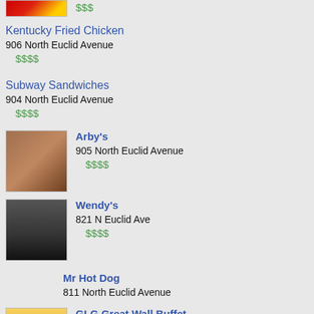[Figure (photo): Partial thumbnail of a restaurant (top of page, cropped)]
$$$
Kentucky Fried Chicken
906 North Euclid Avenue
$$$$
Subway Sandwiches
904 North Euclid Avenue
$$$$
[Figure (photo): Thumbnail photo of Arby's food items]
Arby's
905 North Euclid Avenue
$$$$
[Figure (photo): Thumbnail photo of Wendy's food item]
Wendy's
821 N Euclid Ave
$$$$
Mr Hot Dog
811 North Euclid Avenue
[Figure (photo): Thumbnail photo of GLG Great Wall Buffet]
GLG Great Wall Buffet
805 North Euclid Avenue